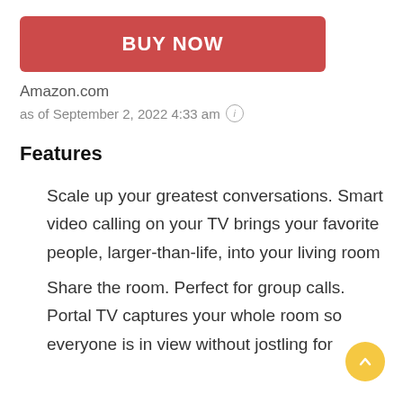[Figure (other): Red BUY NOW button]
Amazon.com
as of September 2, 2022 4:33 am ⓘ
Features
Scale up your greatest conversations. Smart video calling on your TV brings your favorite people, larger-than-life, into your living room
Share the room. Perfect for group calls. Portal TV captures your whole room so everyone is in view without jostling for